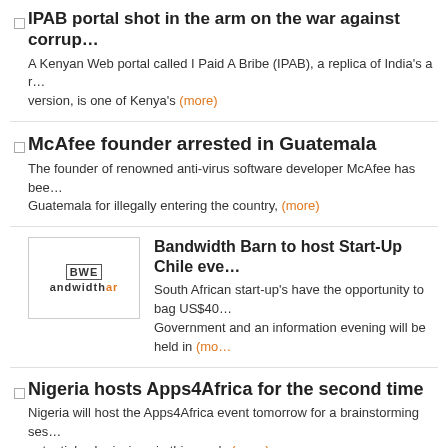IPAB portal shot in the arm on the war against corruption. A Kenyan Web portal called I Paid A Bribe (IPAB), a replica of India's a r version, is one of Kenya's (more)
McAfee founder arrested in Guatemala. The founder of renowned anti-virus software developer McAfee has been arrested in Guatemala for illegally entering the country, (more)
Bandwidth Barn to host Start-Up Chile eve... South African start-up's have the opportunity to bag US$4... Government and an information evening will be held in (more)
Nigeria hosts Apps4Africa for the second time. Nigeria will host the Apps4Africa event tomorrow for a brainstorming session and potential submissions in this year's (more)
Q&A: Oluseun Onigbinde talks BudgIT and information